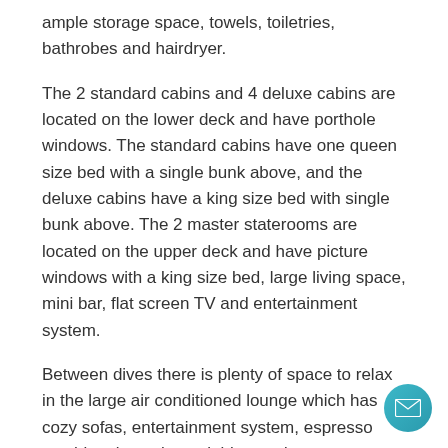ample storage space, towels, toiletries, bathrobes and hairdryer.
The 2 standard cabins and 4 deluxe cabins are located on the lower deck and have porthole windows. The standard cabins have one queen size bed with a single bunk above, and the deluxe cabins have a king size bed with single bunk above. The 2 master staterooms are located on the upper deck and have picture windows with a king size bed, large living space, mini bar, flat screen TV and entertainment system.
Between dives there is plenty of space to relax in the large air conditioned lounge which has cozy sofas, entertainment system, espresso machine, icemaker, mini-bar and computer room with email and photo/video editing services. There is also a huge sundeck with ample loungers, seating area and jacuzzi.
Meals are served in the spacious and sociable dining